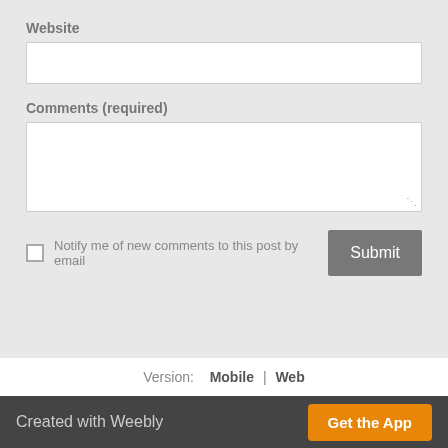Website
[Figure (screenshot): Website text input field (empty)]
Comments (required)
[Figure (screenshot): Comments textarea field (empty) with resize handle]
Notify me of new comments to this post by email
[Figure (screenshot): Submit button (gray)]
Version:  Mobile  |  Web
Created with Weebly   Get the App